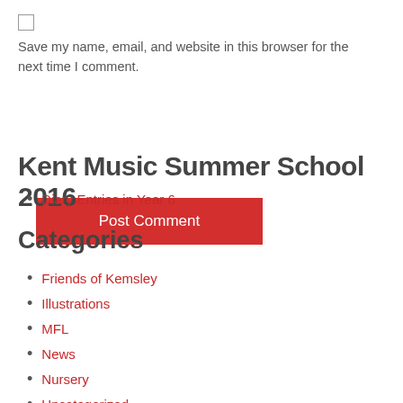Save my name, email, and website in this browser for the next time I comment.
Post Comment
Kent Music Summer School 2016
Diary Entries in Year 6
Categories
Friends of Kemsley
Illustrations
MFL
News
Nursery
Uncategorized